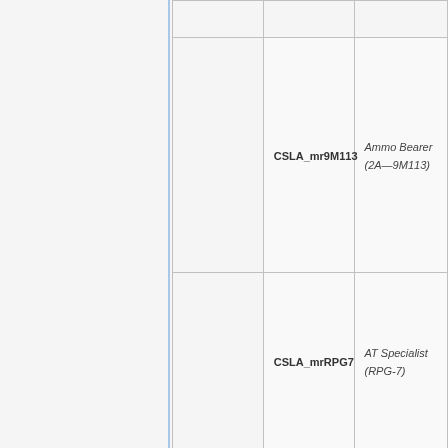|  |  |  |
|  | CSLA_mr9M113 | Ammo Bearer (2A—9M113) |
|  | CSLA_mrRPG7 | AT Specialist (RPG-7) |